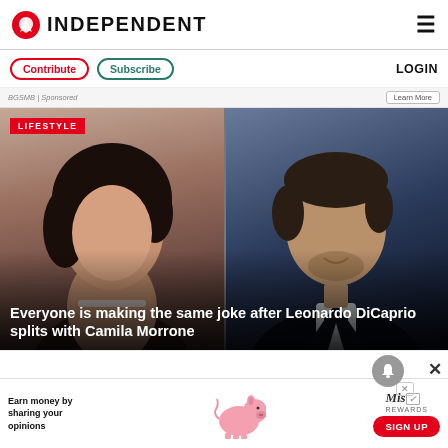INDEPENDENT
Contribute  Subscribe  LOGIN
BGSMB | Sponsored  Learn More
[Figure (photo): Side-by-side portrait photos of a young woman (Camila Morrone) on the left and a man in a tuxedo (Leonardo DiCaprio) on the right, with a LIFESTYLE badge overlay]
Everyone is making the same joke after Leonardo DiCaprio splits with Camila Morrone
[Figure (other): Advertisement banner: Earn money by sharing your opinions – Miss Rewards – SIGN UP button with pig illustration]